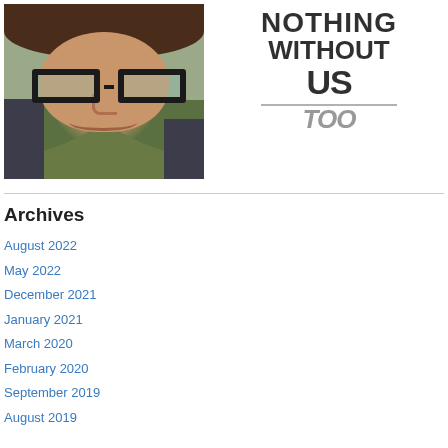[Figure (photo): Portrait photo of a woman with short dark hair, glasses, and a green shirt, smiling slightly]
[Figure (logo): Logo text reading 'NOTHING WITHOUT US TOO' in a distressed/stamp font style, with 'TOO' in gray italic]
Archives
August 2022
May 2022
December 2021
January 2021
March 2020
February 2020
September 2019
August 2019